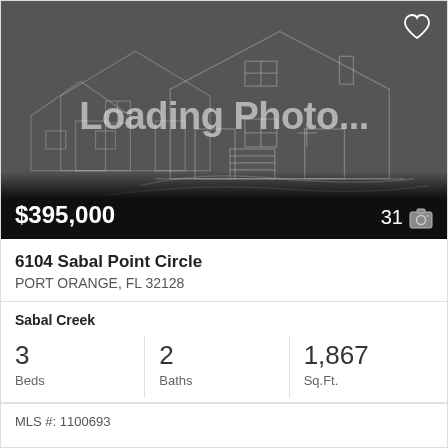[Figure (illustration): Dark gray placeholder image with faint house outline drawing and 'Loading Photo...' text overlay. Heart icon in top right corner. Price $395,000 bottom left, photo count '31' with camera icon bottom right.]
6104 Sabal Point Circle
PORT ORANGE, FL 32128
Sabal Creek
3 Beds  2 Baths  1,867 Sq.Ft.
MLS #: 1100693